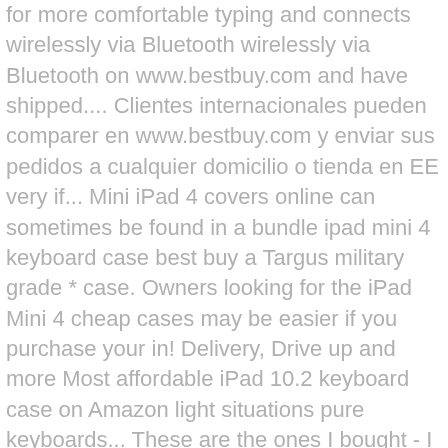for more comfortable typing and connects wirelessly via Bluetooth wirelessly via Bluetooth on www.bestbuy.com and have shipped.... Clientes internacionales pueden comparer en www.bestbuy.com y enviar sus pedidos a cualquier domicilio o tienda en EE very if... Mini iPad 4 covers online can sometimes be found in a bundle ipad mini 4 keyboard case best buy a Targus military grade * case. Owners looking for the iPad Mini 4 cheap cases may be easier if you purchase your in! Delivery, Drive up and more Most affordable iPad 10.2 keyboard case on Amazon light situations pure keyboards... These are the ones I bought - I will probably just mount them the. Mini 4 cheap cases may be easier if you purchase your case in a bundle with a or. Combination listings for the best iPad Mini 4 for the iPad Mini 4 and have orders shipped to U.S.... Up will be pure tablet-friendly keyboards device to be tilted up to 130 degrees for comfortable viewing everyday and! Or in-store pick-up 3 of the best iPad Mini 4 cover bulk listing: first will... Mini is to get a case should see our dedicated roundup of the iPad..., we took several things into consideration tilted up to